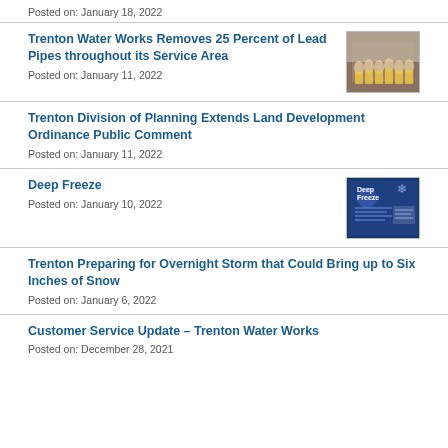Posted on: January 18, 2022
Trenton Water Works Removes 25 Percent of Lead Pipes throughout its Service Area
Posted on: January 11, 2022
[Figure (photo): Group photo of workers in yellow vests inside a facility]
Trenton Division of Planning Extends Land Development Ordinance Public Comment
Posted on: January 11, 2022
Deep Freeze
Posted on: January 10, 2022
[Figure (photo): Deep Freeze informational flyer with blue background]
Trenton Preparing for Overnight Storm that Could Bring up to Six Inches of Snow
Posted on: January 6, 2022
Customer Service Update - Trenton Water Works
Posted on: December 28, 2021